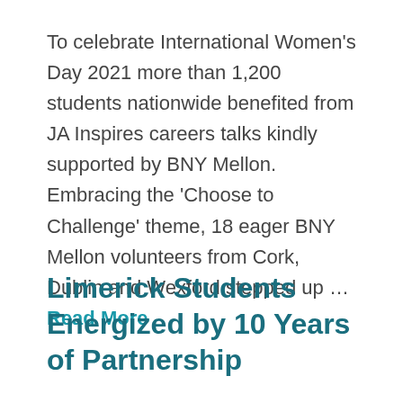To celebrate International Women's Day 2021 more than 1,200 students nationwide benefited from JA Inspires careers talks kindly supported by BNY Mellon. Embracing the 'Choose to Challenge' theme, 18 eager BNY Mellon volunteers from Cork, Dublin and Wexford stepped up … Read More
Limerick Students Energized by 10 Years of Partnership